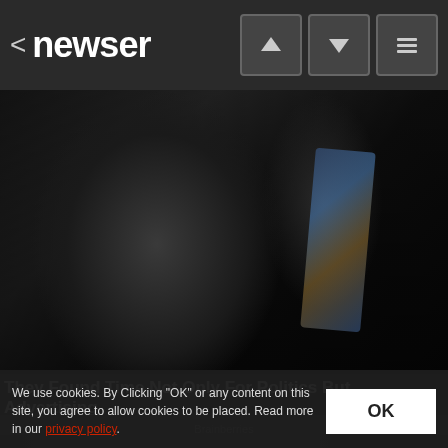< newser
[Figure (photo): Dark photo of an elderly man with glasses and a serious expression, wearing a dark suit, with a blue and gold striped tie visible in the background on another person]
They Found Time Not Only For Politics But Advertising
Brainberries
[Figure (photo): Second photo strip partially visible at bottom]
We use cookies. By Clicking "OK" or any content on this site, you agree to allow cookies to be placed. Read more in our privacy policy.